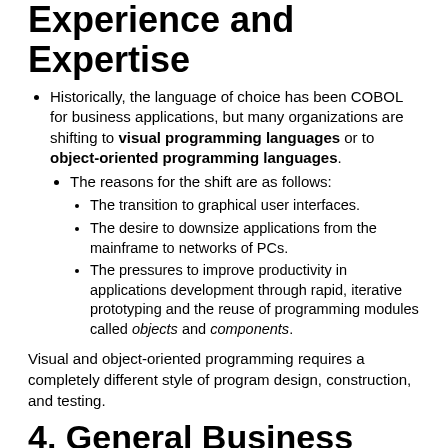Experience and Expertise
Historically, the language of choice has been COBOL for business applications, but many organizations are shifting to visual programming languages or to object-oriented programming languages.
The reasons for the shift are as follows:
The transition to graphical user interfaces.
The desire to downsize applications from the mainframe to networks of PCs.
The pressures to improve productivity in applications development through rapid, iterative prototyping and the reuse of programming modules called objects and components.
Visual and object-oriented programming requires a completely different style of program design, construction, and testing.
4. General Business